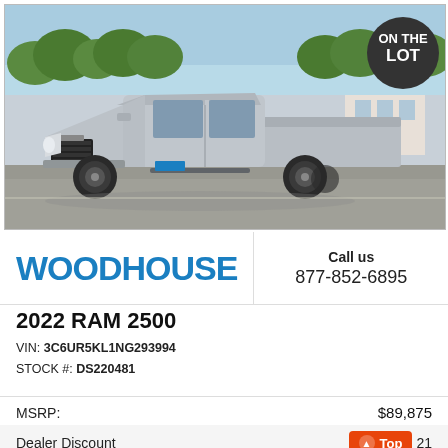[Figure (photo): Silver 2022 RAM 2500 pickup truck photographed in a dealership lot on a sunny day. Trees and dealership buildings visible in background. 'ON THE LOT' dark circular badge overlaid in top-right corner.]
WOODHOUSE
Call us
877-852-6895
2022 RAM 2500
VIN: 3C6UR5KL1NG293994
STOCK #: DS220481
MSRP:  $89,875
Dealer Discount